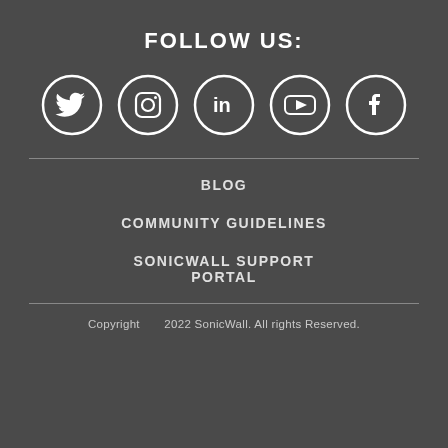FOLLOW US:
[Figure (illustration): Five social media icons in circles: Twitter, Instagram, LinkedIn, YouTube, Facebook]
BLOG
COMMUNITY GUIDELINES
SONICWALL SUPPORT PORTAL
Copyright      2022 SonicWall. All rights reserved.